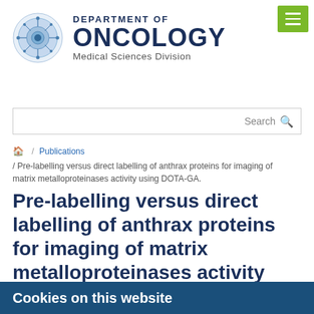[Figure (logo): Department of Oncology, Medical Sciences Division logo with circular blue molecular/cell graphic and text]
[Figure (screenshot): Green hamburger menu button in top right corner]
Search
🏠 / Publications / Pre-labelling versus direct labelling of anthrax proteins for imaging of matrix metalloproteinases activity using DOTA-GA.
Pre-labelling versus direct labelling of anthrax proteins for imaging of matrix metalloproteinases activity using DOTA-GA.
Cookies on this website